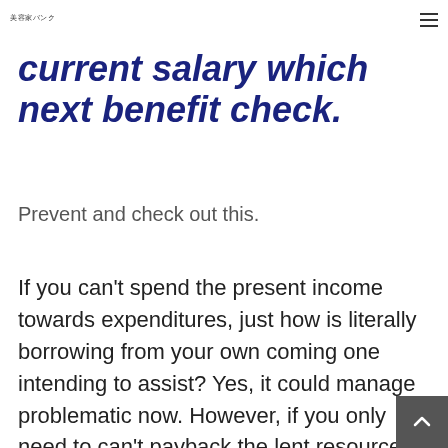美容家バンク
current salary which next benefit check.
Prevent and check out this.
If you can't spend the present income towards expenditures, just how is literally borrowing from your own coming one intending to assist? Yes, it could manage problematic now. However, if you only need to can't payback the lent resources, you might develop a tether that's very long an economic service or product wi